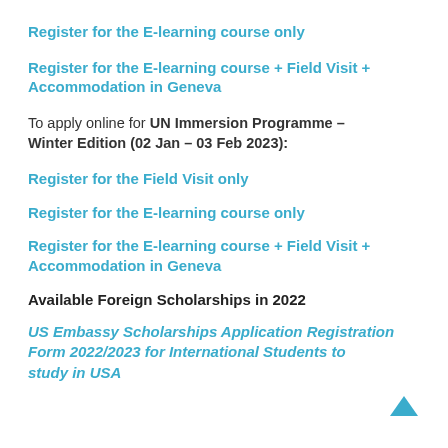Register for the E-learning course only
Register for the E-learning course + Field Visit + Accommodation in Geneva
To apply online for UN Immersion Programme – Winter Edition (02 Jan – 03 Feb 2023):
Register for the Field Visit only
Register for the E-learning course only
Register for the E-learning course + Field Visit + Accommodation in Geneva
Available Foreign Scholarships in 2022
US Embassy Scholarships Application Registration Form 2022/2023 for International Students to study in USA